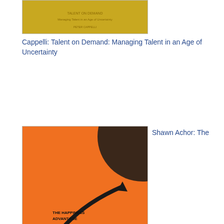[Figure (photo): Book cover: Cappelli Talent on Demand - gold/yellow cover]
Cappelli: Talent on Demand: Managing Talent in an Age of Uncertainty
[Figure (photo): Book cover: Shawn Achor The Happiness Advantage - orange cover with arrow]
Shawn Achor: The Happiness Advantage: The Seven Principles of Positive Psychology That Fuel Success and Performance at Work
[Figure (photo): Book cover: Peter Sims Little Bets - green cover]
Peter Sims: Little Bets